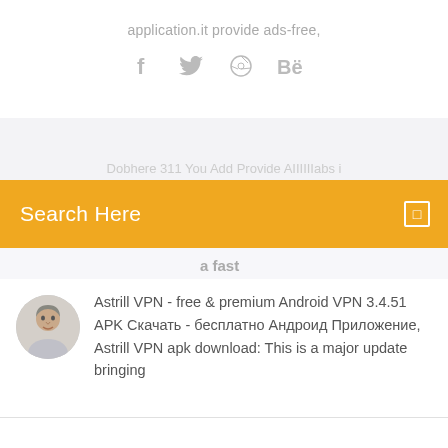application.it provide ads-free,
[Figure (infographic): Social media icons: Facebook (f), Twitter bird, Dribbble, Behance (Be) in gray]
[Figure (screenshot): Light gray background strip with partially visible text]
Search Here
a fast
[Figure (photo): Circular avatar photo of a man]
Astrill VPN - free & premium Android VPN 3.4.51 APK Скачать - бесплатно Андроид Приложение, Astrill VPN apk download: This is a major update bringing